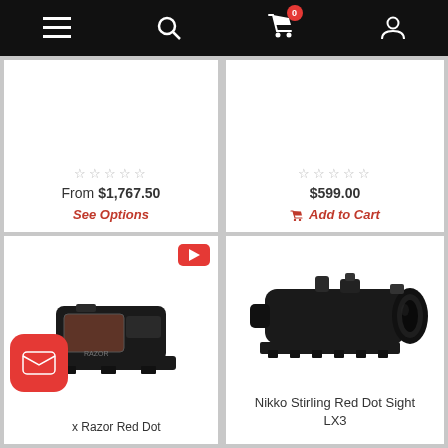Navigation bar with menu, search, cart (0 items), and account icons
☆☆☆☆☆ From $1,767.50 See Options
☆☆☆☆☆ $599.00 Add to Cart
[Figure (photo): Small black Vortex Razor Red Dot sight on a mount, with YouTube play button badge in corner]
x Razor Red Dot
[Figure (photo): Nikko Stirling Red Dot Sight LX3 - black tactical scope on rail mount]
Nikko Stirling Red Dot Sight LX3